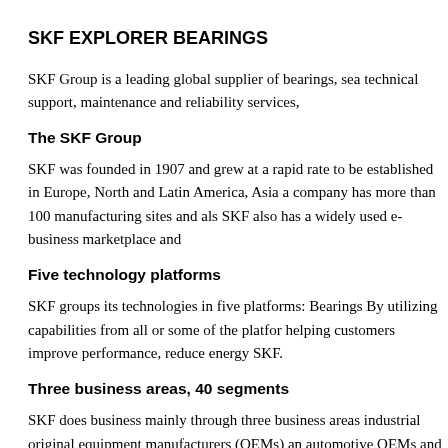SKF EXPLORER BEARINGS
SKF Group is a leading global supplier of bearings, sea technical support, maintenance and reliability services,
The SKF Group
SKF was founded in 1907 and grew at a rapid rate to be established in Europe, North and Latin America, Asia a company has more than 100 manufacturing sites and als SKF also has a widely used e-business marketplace and
Five technology platforms
SKF groups its technologies in five platforms: Bearings By utilizing capabilities from all or some of the platfor helping customers improve performance, reduce energy SKF.
Three business areas, 40 segments
SKF does business mainly through three business areas industrial original equipment manufacturers (OEMs) an automotive OEMs and aftermarket customers. SKF ope and light trucks, wind energy, railway, machine tool, me